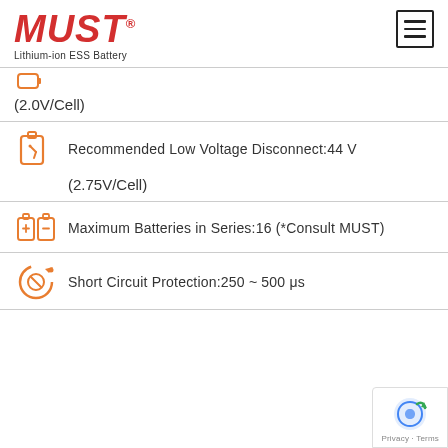[Figure (logo): MUST Lithium-ion ESS Battery logo in red italic bold text with registered trademark symbol, and a hamburger menu icon in top right]
(2.0V/Cell)
Recommended Low Voltage Disconnect:44 V
(2.75V/Cell)
Maximum Batteries in Series:16 (*Consult MUST)
Short Circuit Protection:250 ~ 500 μs